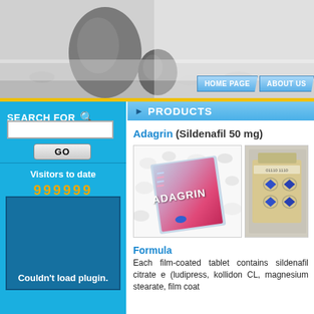[Figure (photo): Header banner with zen stones on a rocky/pebbly gray surface]
HOME PAGE  ABOUT US
SEARCH FOR
GO
Visitors to date
999999
Couldn't load plugin.
PRODUCTS
Adagrin (Sildenafil 50 mg)
[Figure (photo): Adagrin drug box - pink/red gradient box with ADAGRIN brand name on white pebbles background]
[Figure (photo): Blister pack with blue diamond-shaped tablets]
Formula
Each film-coated tablet contains sildenafil citrate e (ludipress, kollidon CL, magnesium stearate, film coat